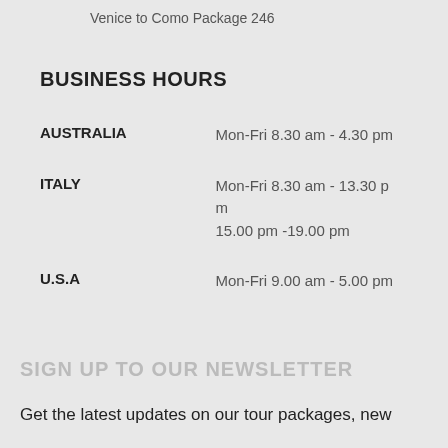Venice to Como Package 246
BUSINESS HOURS
|  |  |
| --- | --- |
| AUSTRALIA | Mon-Fri 8.30 am - 4.30 pm |
| ITALY | Mon-Fri 8.30 am - 13.30 pm
15.00 pm -19.00 pm |
| U.S.A | Mon-Fri 9.00 am - 5.00 pm |
SIGN UP TO OUR NEWSLETTER
Get the latest updates on our tour packages, new